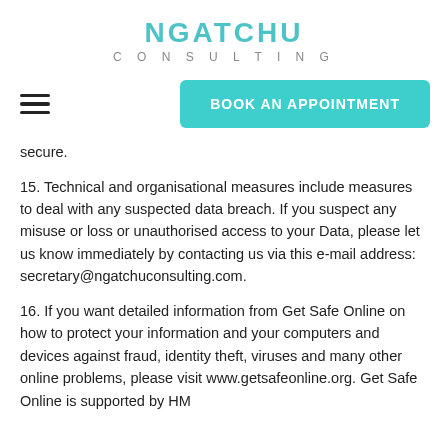NGATCHU CONSULTING
secure.
15. Technical and organisational measures include measures to deal with any suspected data breach. If you suspect any misuse or loss or unauthorised access to your Data, please let us know immediately by contacting us via this e-mail address: secretary@ngatchuconsulting.com.
16. If you want detailed information from Get Safe Online on how to protect your information and your computers and devices against fraud, identity theft, viruses and many other online problems, please visit www.getsafeonline.org. Get Safe Online is supported by HM